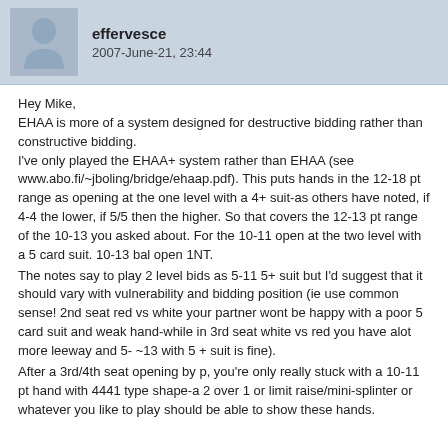effervesce
2007-June-21, 23:44
Hey Mike,
EHAA is more of a system designed for destructive bidding rather than constructive bidding.
I've only played the EHAA+ system rather than EHAA (see www.abo.fi/~jboling/bridge/ehaap.pdf). This puts hands in the 12-18 pt range as opening at the one level with a 4+ suit-as others have noted, if 4-4 the lower, if 5/5 then the higher. So that covers the 12-13 pt range of the 10-13 you asked about. For the 10-11 open at the two level with a 5 card suit. 10-13 bal open 1NT.
The notes say to play 2 level bids as 5-11 5+ suit but I'd suggest that it should vary with vulnerability and bidding position (ie use common sense! 2nd seat red vs white your partner wont be happy with a poor 5 card suit and weak hand-while in 3rd seat white vs red you have alot more leeway and 5- ~13 with 5 + suit is fine).
After a 3rd/4th seat opening by p, you're only really stuck with a 10-11 pt hand with 4441 type shape-a 2 over 1 or limit raise/mini-splinter or whatever you like to play should be able to show these hands.